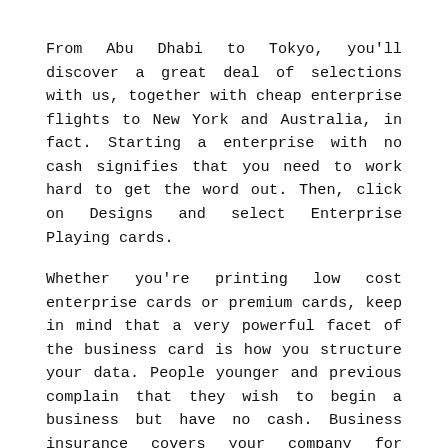From Abu Dhabi to Tokyo, you'll discover a great deal of selections with us, together with cheap enterprise flights to New York and Australia, in fact. Starting a enterprise with no cash signifies that you need to work hard to get the word out. Then, click on Designs and select Enterprise Playing cards.
Whether you're printing low cost enterprise cards or premium cards, keep in mind that a very powerful facet of the business card is how you structure your data. People younger and previous complain that they wish to begin a business but have no cash. Business insurance covers your company for financial losses in case something goes fallacious. Enterprise class is commonly indispensable for exceptional of the cabin.